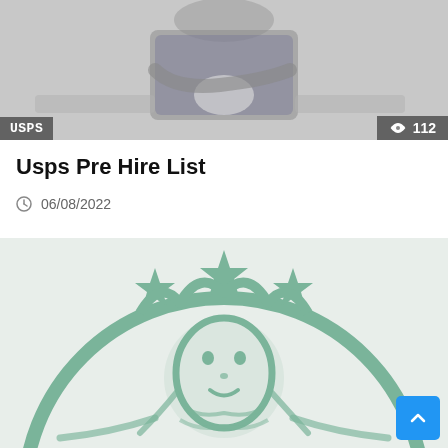[Figure (photo): Photo of a person sitting, wearing a plaid shirt, with arms crossed, viewed from chest down. Overlaid with 'USPS' label on bottom left and '112' view count on bottom right.]
Usps Pre Hire List
06/08/2022
[Figure (logo): Starbucks logo — green siren/mermaid emblem on light gray/white background, partially cropped showing the top portion of the circular logo.]